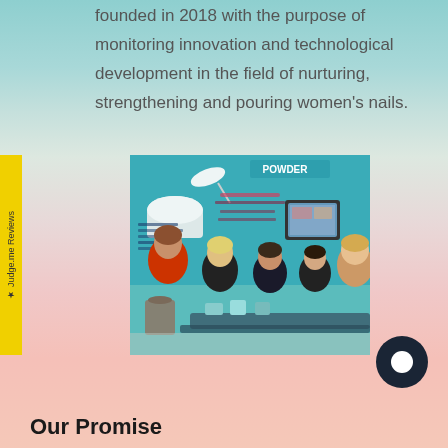founded in 2018 with the purpose of monitoring innovation and technological development in the field of nurturing, strengthening and pouring women's nails.
[Figure (photo): People at a trade show booth with a teal/turquoise banner advertising nail powder products. Several attendees and staff members are visible, with product displays on tables.]
Our Promise